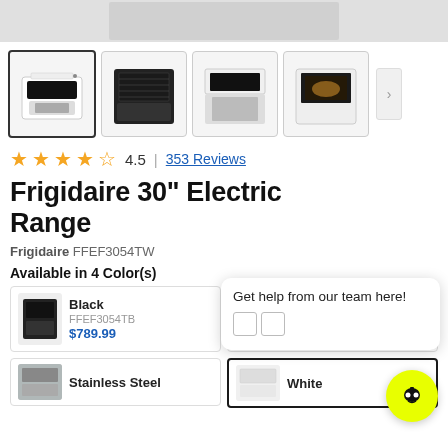[Figure (photo): Product image strip at top (cropped gray placeholder)]
[Figure (photo): Four product thumbnail images of Frigidaire electric range from different angles]
4.5 | 353 Reviews
Frigidaire 30" Electric Range
Frigidaire FFEF3054TW
Available in 4 Color(s)
| Thumbnail | Color | SKU | Price |
| --- | --- | --- | --- |
| [image] | Black | FFEF3054TB | $789.99 |
| [image] | Black Stainless Steel | FFEF3054TD | $859.99 |
| [image] | Stainless Steel |  |  |
| [image] | White |  |  |
Get help from our team here!